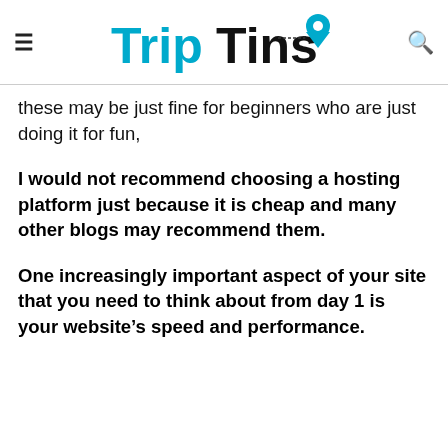TripTins
these may be just fine for beginners who are just doing it for fun,
I would not recommend choosing a hosting platform just because it is cheap and many other blogs may recommend them.
One increasingly important aspect of your site that you need to think about from day 1 is your website's speed and performance.